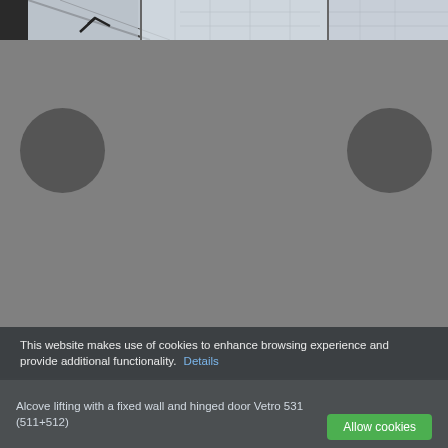[Figure (photo): Top strip showing a partial black-and-white engineering or architectural photo with structural elements and lines visible]
[Figure (illustration): Large gray panel with two dark gray circles on left and right sides, representing a schematic or product illustration placeholder]
This website makes use of cookies to enhance browsing experience and provide additional functionality. Details Allow cookies
Alcove lifting with a fixed wall and hinged door Vetro 531 (511+512)